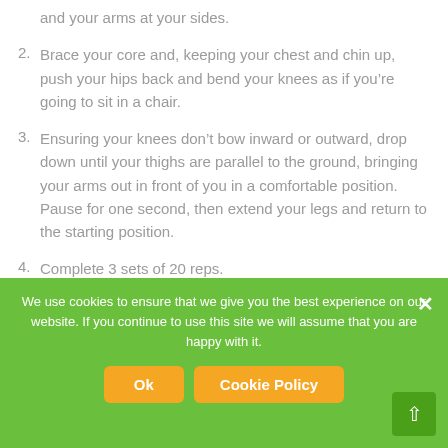and your arms at your sides.
2. Brace your core and, keeping your chest and chin up, push your hips back and bend your knees as if you’re going to sit in a chair.
3. Ensuring your knees don’t bow inward or outward, drop down until your thighs are parallel to the ground, bringing your arms out in front of you in a comfortable position. Pause for one second, then extend your legs and return to the starting position.
4. Complete 3 sets of 20 reps.
We use cookies to ensure that we give you the best experience on our website. If you continue to use this site we will assume that you are happy with it.